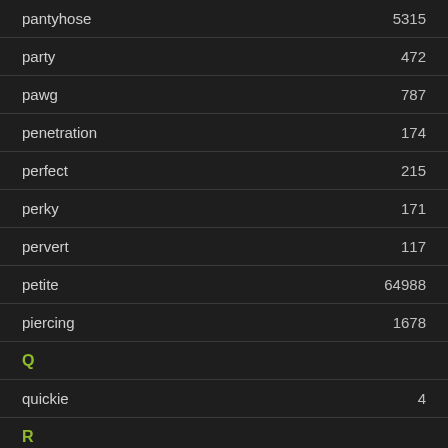pantyhose — 5315
party — 472
pawg — 787
penetration — 174
perfect — 215
perky — 171
pervert — 117
petite — 64988
piercing — 1678
Q
quickie — 4
R
real — 420
redhead — 9185
riding
rimming